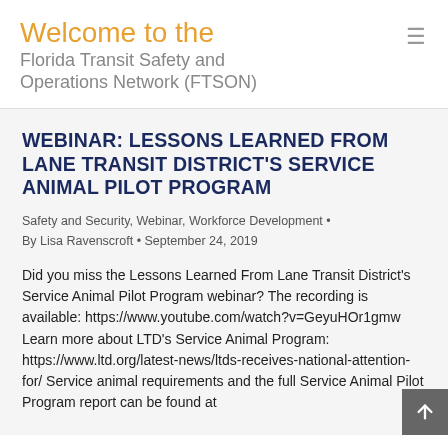Welcome to the Florida Transit Safety and Operations Network (FTSON)
WEBINAR: LESSONS LEARNED FROM LANE TRANSIT DISTRICT'S SERVICE ANIMAL PILOT PROGRAM
Safety and Security, Webinar, Workforce Development · By Lisa Ravenscroft · September 24, 2019
Did you miss the Lessons Learned From Lane Transit District's Service Animal Pilot Program webinar? The recording is available: https://www.youtube.com/watch?v=GeyuHOr1gmw Learn more about LTD's Service Animal Program: https://www.ltd.org/latest-news/ltds-receives-national-attention-for/ Service animal requirements and the full Service Animal Pilot Program report can be found at